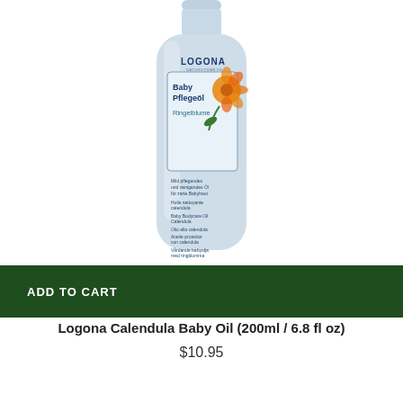[Figure (photo): Logona Calendula Baby Oil bottle (200ml), light blue bottle with label showing 'Baby Pflegeöl Ringelblume' and multilingual text, with calendula flower illustration]
ADD TO CART
Logona Calendula Baby Oil (200ml / 6.8 fl oz)
$10.95